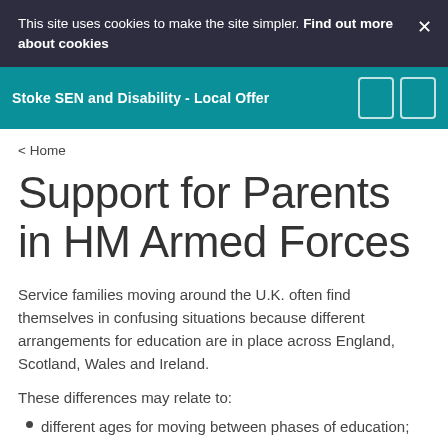This site uses cookies to make the site simpler. Find out more about cookies
Stoke SEN and Disability - Local Offer
< Home
Support for Parents in HM Armed Forces
Service families moving around the U.K. often find themselves in confusing situations because different arrangements for education are in place across England, Scotland, Wales and Ireland.
These differences may relate to:
different ages for moving between phases of education;